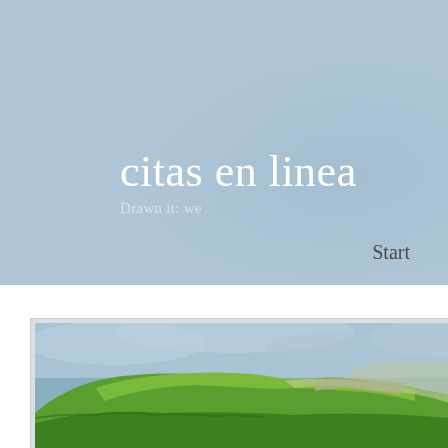citas en linea
Drawn it: we
Start
[Figure (photo): Landscape photograph showing green rolling hills with a flat-topped rocky plateau, under a cloudy sky. The hillside is covered with green vegetation and rocky outcrops.]